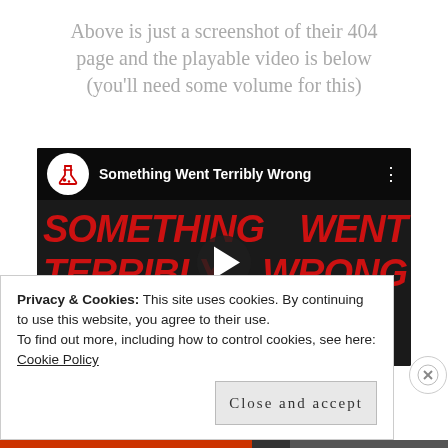Above is just a screenshot of their 404 page and the playable video is below (you'll need some volume for this)
[Figure (screenshot): YouTube video thumbnail showing 'Something Went Terribly Wrong' with bold red text on a dark smoky background, with a play button in the center and YouTube-style top bar with channel logo and title.]
Privacy & Cookies: This site uses cookies. By continuing to use this website, you agree to their use.
To find out more, including how to control cookies, see here:
Cookie Policy
Close and accept